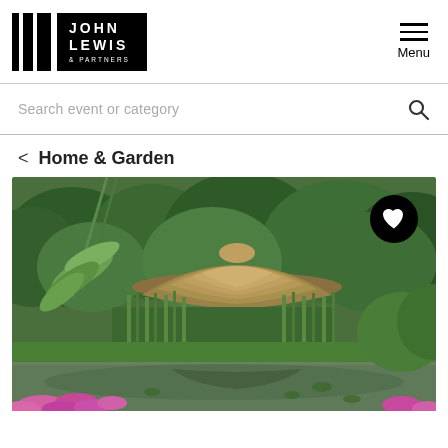[Figure (logo): John Lewis & Partners logo with three vertical black stripes and black box containing brand name]
Menu
Search event or category
Home & Garden
[Figure (photo): A lush garden scene featuring a thatched-roof cottage/hut surrounded by tall green reeds and trees, reflected in a still pond with pink flowers in the foreground]